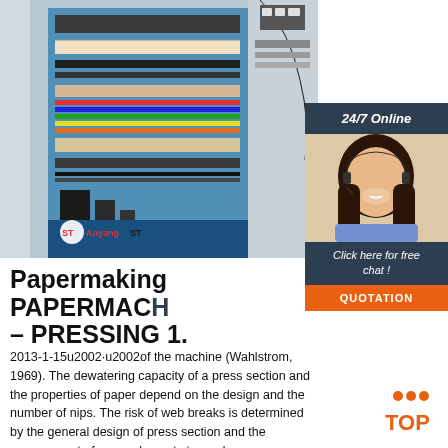[Figure (photo): Electrical control cabinet open showing wiring, terminal blocks, and blue interior panel with Anyang ST logo overlay]
[Figure (photo): 24/7 Online customer service agent with headset, dark panel with 'Click here for free chat!' text and orange QUOTATION button]
Papermaking PAPERMACHINE – PRESSING 1.
2013-1-15u2002·u2002of the machine (Wahlstrom, 1969). The dewatering capacity of a press section and the properties of paper depend on the design and the number of nips. The risk of web breaks is determined by the general design of press section and the arrangement of press elements to produce a conventional fulfill
[Figure (other): Orange TOP button with orange dots above]